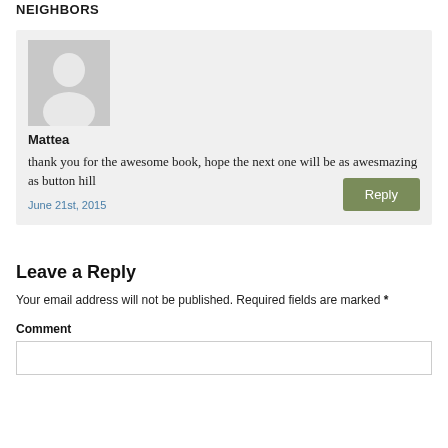NEIGHBORS
[Figure (illustration): Default avatar silhouette — grey square with white person icon]
Mattea
thank you for the awesome book, hope the next one will be as awesmazing as button hill
June 21st, 2015
Leave a Reply
Your email address will not be published. Required fields are marked *
Comment